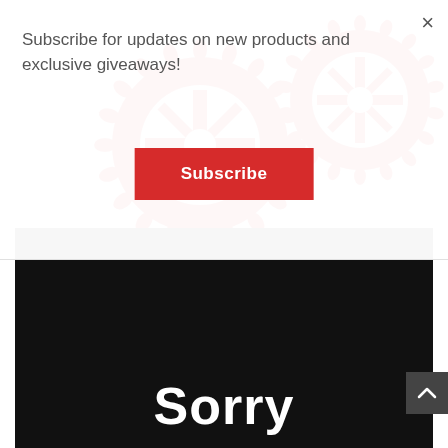[Figure (photo): Red anodized bicycle chainring gears on white background, showing toothed sprockets]
[Figure (photo): Black panel with large white bold text reading 'Sorry']
Subscribe for updates on new products and exclusive giveaways!
Subscribe
×
Sorry